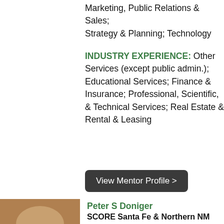Marketing, Public Relations & Sales; Strategy & Planning; Technology
INDUSTRY EXPERIENCE: Other Services (except public admin.); Educational Services; Finance & Insurance; Professional, Scientific, & Technical Services; Real Estate & Rental & Leasing
View Mentor Profile >
Peter S Doniger
SCORE Santa Fe & Northern NM
I am an income tax Professional. I can help with US, State and Local filings.
AREAS OF EXPERTISE: Accountin...